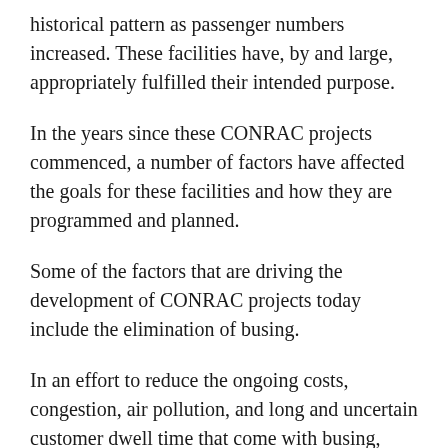historical pattern as passenger numbers increased. These facilities have, by and large, appropriately fulfilled their intended purpose.
In the years since these CONRAC projects commenced, a number of factors have affected the goals for these facilities and how they are programmed and planned.
Some of the factors that are driving the development of CONRAC projects today include the elimination of busing.
In an effort to reduce the ongoing costs, congestion, air pollution, and long and uncertain customer dwell time that come with busing, many airports have sought to locate rental car facilities within a short walk of their terminals. These facilities can provide direct access between rental car operations and the terminal for